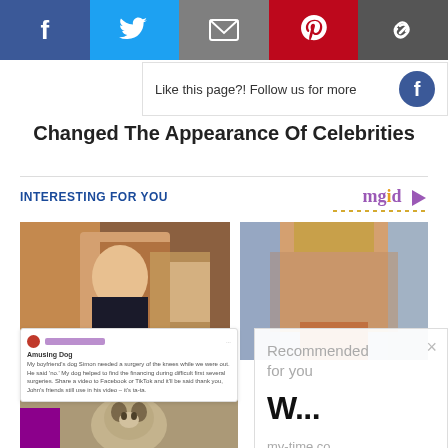[Figure (screenshot): Social media share bar with Facebook, Twitter, Email, Pinterest, and link icons]
Like this page?! Follow us for more
11 Before & After Photos That Changed The Appearance Of Celebrities
INTERESTING FOR YOU
[Figure (screenshot): Two thumbnail images: left shows a woman taking a selfie in a mirror, right shows a blonde woman]
[Figure (screenshot): Social media post overlay showing a Facebook-style post with text about a dog]
[Figure (photo): Photo of a husky dog smiling]
[Figure (screenshot): Recommended for you overlay ad showing 'W...' headline from my-time.co]